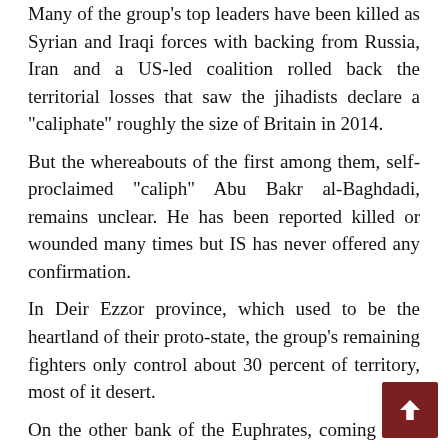Many of the group's top leaders have been killed as Syrian and Iraqi forces with backing from Russia, Iran and a US-led coalition rolled back the territorial losses that saw the jihadists declare a "caliphate" roughly the size of Britain in 2014.
But the whereabouts of the first among them, self-proclaimed "caliph" Abu Bakr al-Baghdadi, remains unclear. He has been reported killed or wounded many times but IS has never offered any confirmation.
In Deir Ezzor province, which used to be the heartland of their proto-state, the group's remaining fighters only control about 30 percent of territory, most of it desert.
On the other bank of the Euphrates, coming from the north, the Kurdish-led US-backed forces that retook the IS "capital" of Raqa last month were also advancing on IS positions.
According to the Observatory, the Syrian Democratic...